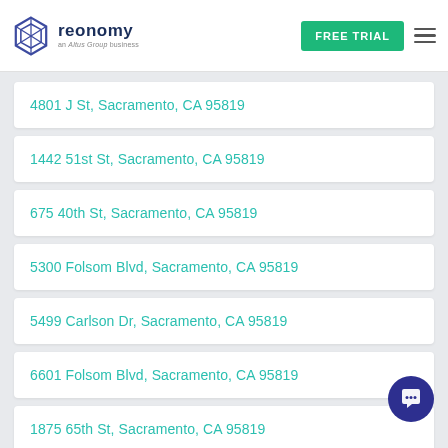reonomy — an Altus Group business | FREE TRIAL
4801 J St, Sacramento, CA 95819
1442 51st St, Sacramento, CA 95819
675 40th St, Sacramento, CA 95819
5300 Folsom Blvd, Sacramento, CA 95819
5499 Carlson Dr, Sacramento, CA 95819
6601 Folsom Blvd, Sacramento, CA 95819
1875 65th St, Sacramento, CA 95819